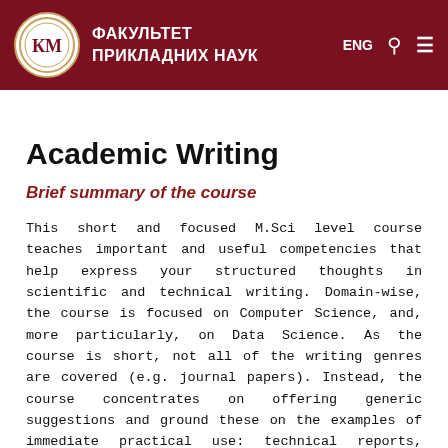ФАКУЛЬТЕТ ПРИКЛАДНИХ НАУК
Academic Writing
Brief summary of the course
This short and focused M.Sci level course teaches important and useful competencies that help express your structured thoughts in scientific and technical writing. Domain-wise, the course is focused on Computer Science, and, more particularly, on Data Science. As the course is short, not all of the writing genres are covered (e.g. journal papers). Instead, the course concentrates on offering generic suggestions and ground these on the examples of immediate practical use: technical reports, M.Sci and Ph.D. theses, Ph.D.